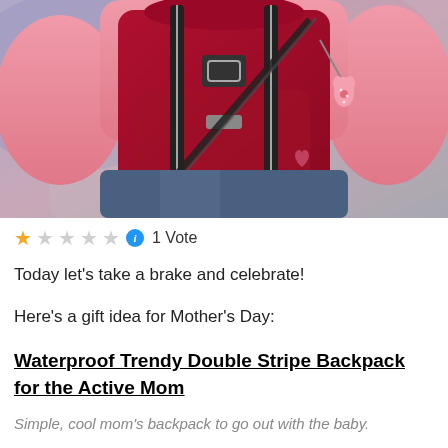[Figure (photo): Person wearing a pink hoodie carrying a red/dark crimson waterproof backpack with black double stripes and a decorative pink cat charm pendant on the zipper pull, against a blurred purple/pink background.]
★☆☆☆☆ ℹ 1 Vote
Today let's take a brake and celebrate!
Here's a gift idea for Mother's Day:
Waterproof Trendy Double Stripe Backpack for the Active Mom
Simple, cool mom's backpack to go out with the baby.